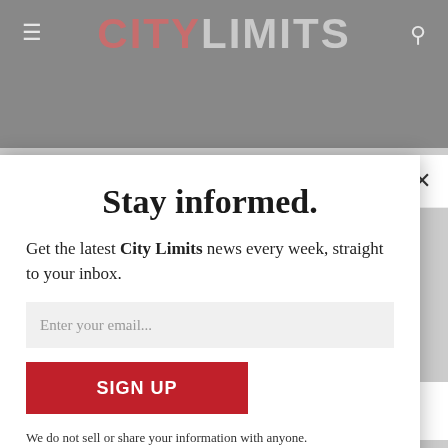CITY LIMITS
Stay informed.
Get the latest City Limits news every week, straight to your inbox.
Enter your email...
SIGN UP
We do not sell or share your information with anyone.
educate yourself!!! And open your mind!!!!!
↩ Reply ↓